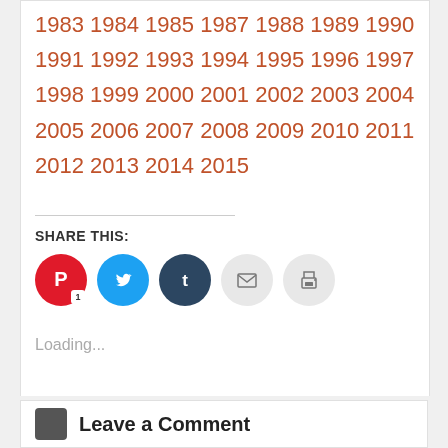1983 1984 1985 1987 1988 1989 1990 1991 1992 1993 1994 1995 1996 1997 1998 1999 2000 2001 2002 2003 2004 2005 2006 2007 2008 2009 2010 2011 2012 2013 2014 2015
SHARE THIS:
[Figure (infographic): Five social share buttons: Pinterest (red, with badge '1'), Twitter (blue), Tumblr (dark blue), Email (light gray with envelope icon), Print (light gray with printer icon)]
Loading...
Leave a Comment